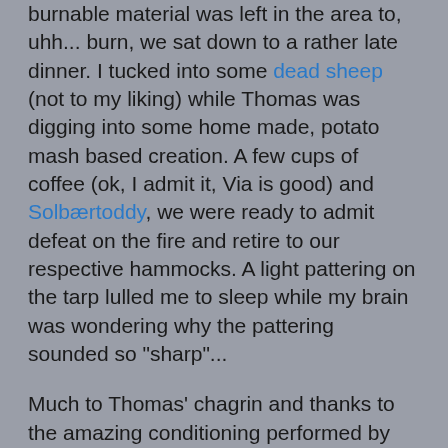burnable material was left in the area to, uhh... burn, we sat down to a rather late dinner. I tucked into some dead sheep (not to my liking) while Thomas was digging into some home made, potato mash based creation. A few cups of coffee (ok, I admit it, Via is good) and Solbærtoddy, we were ready to admit defeat on the fire and retire to our respective hammocks. A light pattering on the tarp lulled me to sleep while my brain was wondering why the pattering sounded so "sharp"...
Much to Thomas' chagrin and thanks to the amazing conditioning performed by my 20 month old daughter my eyes sprung open at 06:30. If Thomas had known me better he'd probably have shouted at me to "get back to sleep you bloody moron", as I started bouncing around in my hammock trying to get the water boiling for some coffee and hot muesli from the hammock. As we discovered the night before, sharing an anchoring tree meant that one person moving in the hammock meant the other person swaying along. Not long after he started swaying Thomas did an amazing impersonation of a person who's not at all bothered by being woken up at the ass-crack of dawn.